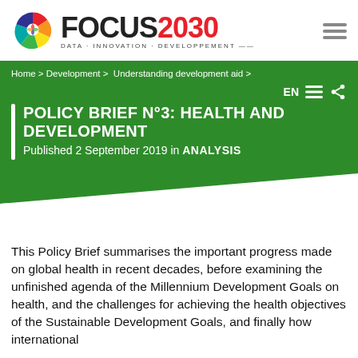[Figure (logo): Focus 2030 logo with colorful aperture/pinwheel icon and text 'FOCUS2030 DATA · INNOVATION · DEVELOPPEMENT']
Home > Development > Understanding development aid >
POLICY BRIEF N°3: HEALTH AND DEVELOPMENT
Published 2 September 2019 in ANALYSIS
This Policy Brief summarises the important progress made on global health in recent decades, before examining the unfinished agenda of the Millennium Development Goals on health, and the challenges for achieving the health objectives of the Sustainable Development Goals, and finally how international health aid has changed throughout the past